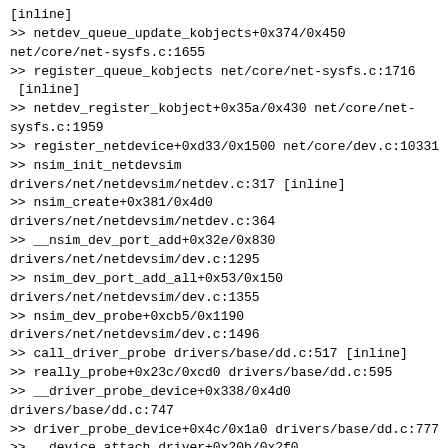[inline]
>> netdev_queue_update_kobjects+0x374/0x450
net/core/net-sysfs.c:1655
>> register_queue_kobjects net/core/net-sysfs.c:1716 [inline]
>> netdev_register_kobject+0x35a/0x430 net/core/net-sysfs.c:1959
>> register_netdevice+0xd33/0x1500 net/core/dev.c:10331
>> nsim_init_netdevsim drivers/net/netdevsim/netdev.c:317 [inline]
>> nsim_create+0x381/0x4d0 drivers/net/netdevsim/netdev.c:364
>> __nsim_dev_port_add+0x32e/0x830 drivers/net/netdevsim/dev.c:1295
>> nsim_dev_port_add_all+0x53/0x150 drivers/net/netdevsim/dev.c:1355
>> nsim_dev_probe+0xcb5/0x1190 drivers/net/netdevsim/dev.c:1496
>> call_driver_probe drivers/base/dd.c:517 [inline]
>> really_probe+0x23c/0xcd0 drivers/base/dd.c:595
>> __driver_probe_device+0x338/0x4d0 drivers/base/dd.c:747
>> driver_probe_device+0x4c/0x1a0 drivers/base/dd.c:777
>> __device_attach_driver+0x20b/0x2f0 drivers/base/dd.c:894
>> bus_for_each_drv+0x15f/0x1e0 drivers/base/bus.c:427
>> __device_attach+0x228/0x4a0 drivers/base/dd.c:965
>> bus_probe_device+0x1e4/0x290 drivers/base/bus.c:487
>> device_add+0xc2f/0x2180 drivers/base/core.c:3356
>> nsim_bus_dev_new drivers/net/netdevsim/bus.c:431